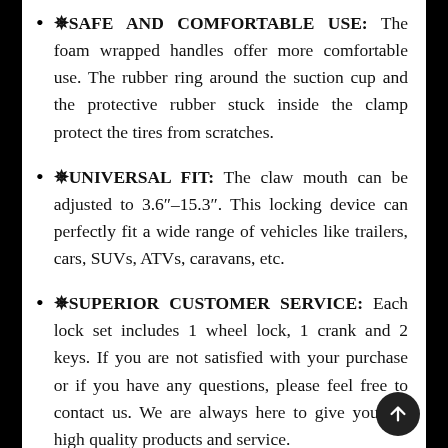✪SAFE AND COMFORTABLE USE: The foam wrapped handles offer more comfortable use. The rubber ring around the suction cup and the protective rubber stuck inside the clamp protect the tires from scratches.
✪UNIVERSAL FIT: The claw mouth can be adjusted to 3.6"-15.3". This locking device can perfectly fit a wide range of vehicles like trailers, cars, SUVs, ATVs, caravans, etc.
✪SUPERIOR CUSTOMER SERVICE: Each lock set includes 1 wheel lock, 1 crank and 2 keys. If you are not satisfied with your purchase or if you have any questions, please feel free to contact us. We are always here to give you the high quality products and service.